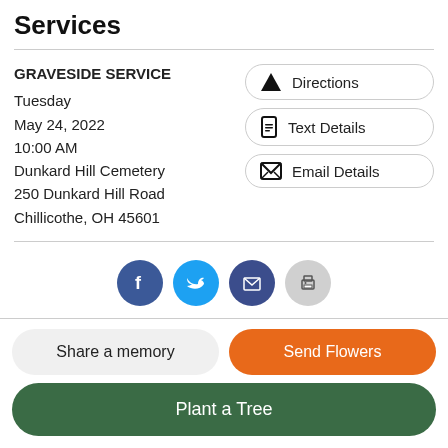Services
GRAVESIDE SERVICE
Tuesday
May 24, 2022
10:00 AM
Dunkard Hill Cemetery
250 Dunkard Hill Road
Chillicothe, OH 45601
[Figure (infographic): Three pill-shaped buttons: Directions (with road icon), Text Details (with phone icon), Email Details (with envelope icon)]
[Figure (infographic): Four social sharing circle icons: Facebook (dark blue), Twitter (blue), Email (dark blue), Print (gray)]
Share a memory
Send Flowers
Plant a Tree